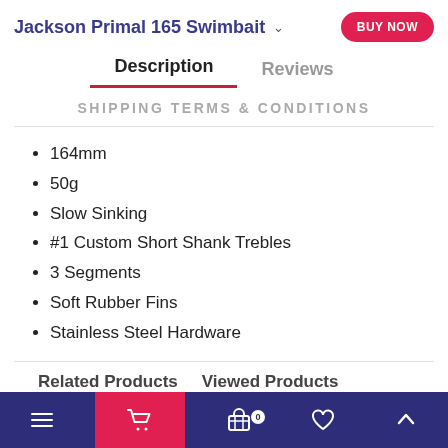Jackson Primal 165 Swimbait
Description | Reviews
SHIPPING TERMS & CONDITIONS
164mm
50g
Slow Sinking
#1 Custom Short Shank Trebles
3 Segments
Soft Rubber Fins
Stainless Steel Hardware
Related Products   Viewed Products